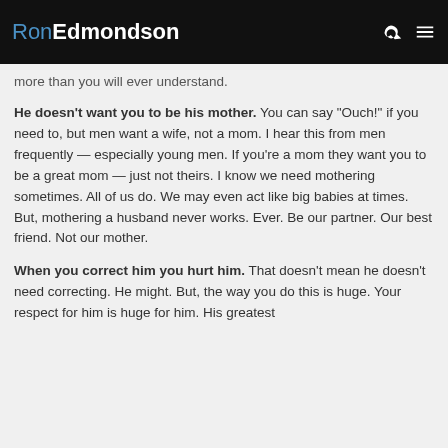RonEdmondson
more than you will ever understand.
He doesn't want you to be his mother. You can say “Ouch!” if you need to, but men want a wife, not a mom. I hear this from men frequently — especially young men. If you’re a mom they want you to be a great mom — just not theirs. I know we need mothering sometimes. All of us do. We may even act like big babies at times. But, mothering a husband never works. Ever. Be our partner. Our best friend. Not our mother.
When you correct him you hurt him. That doesn’t mean he doesn’t need correcting. He might. But, the way you do this is huge. Your respect for him is huge for him. His greatest